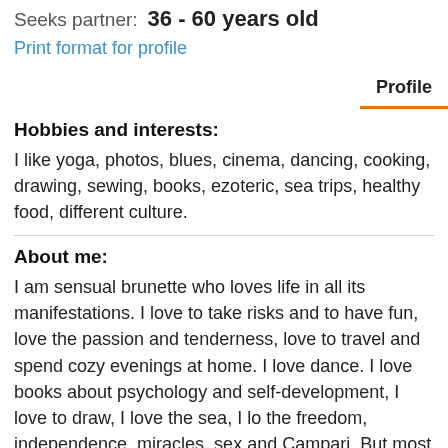Seeks partner: 36 - 60 years old
Print format for profile
Profile
Hobbies and interests:
I like yoga, photos, blues, cinema, dancing, cooking, drawing, sewing, books, ezoteric, sea trips, healthy food, different culture.
About me:
I am sensual brunette who loves life in all its manifestations. I love to take risks and to have fun, love the passion and tenderness, love to travel and spend cozy evenings at home. I love dance. I love books about psychology and self-development, I love to draw, I love the sea, I lo the freedom, independence, miracles, sex and Campari. But most of all I love my little son,